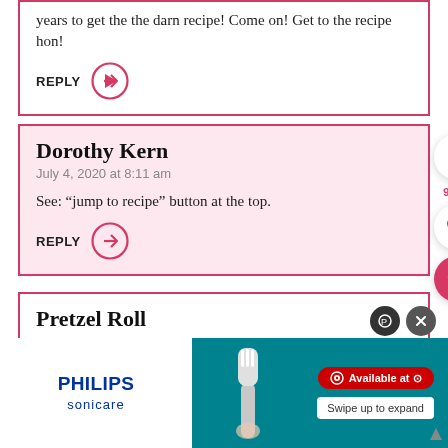years to get the the darn recipe! Come on! Get to the recipe hon!
REPLY
Dorothy Kern
July 4, 2020 at 8:11 am
See: “jump to recipe” button at the top.
REPLY
Pretzel Roll
July 1
[Figure (screenshot): Philips Sonicare advertisement banner with teal background, toothbrush image, PHILIPS SONICARE branding on white left panel, Available at Target pill badge, and Swipe up to expand button]